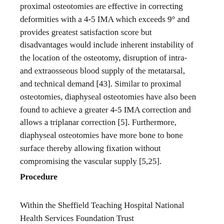proximal osteotomies are effective in correcting deformities with a 4-5 IMA which exceeds 9° and provides greatest satisfaction score but disadvantages would include inherent instability of the location of the osteotomy, disruption of intra- and extraosseous blood supply of the metatarsal, and technical demand [43]. Similar to proximal osteotomies, diaphyseal osteotomies have also been found to achieve a greater 4-5 IMA correction and allows a triplanar correction [5]. Furthermore, diaphyseal osteotomies have more bone to bone surface thereby allowing fixation without compromising the vascular supply [5,25].
Procedure
Within the Sheffield Teaching Hospital National Health Services Foundation Trust